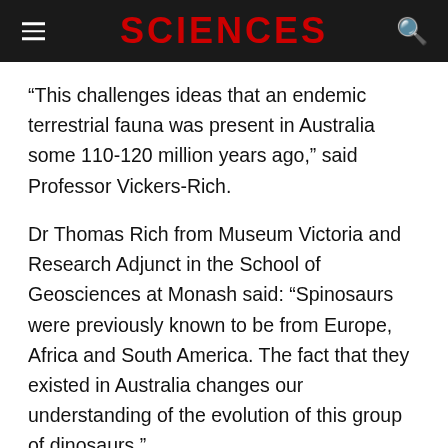SCIENCES
“This challenges ideas that an endemic terrestrial fauna was present in Australia some 110-120 million years ago,” said Professor Vickers-Rich.
Dr Thomas Rich from Museum Victoria and Research Adjunct in the School of Geosciences at Monash said: “Spinosaurs were previously known to be from Europe, Africa and South America. The fact that they existed in Australia changes our understanding of the evolution of this group of dinosaurs.”
“The existence of the neck vertebra adds to the view that in the Early Cretaceous period, the dinosaur faunas found in many other parts of the world were also found in Australia.”